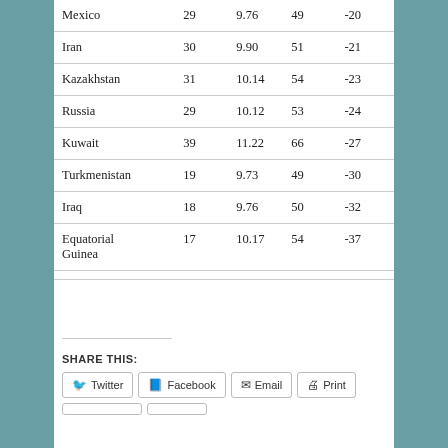| Mexico | 29 | 9.76 | 49 | -20 |
| Iran | 30 | 9.90 | 51 | -21 |
| Kazakhstan | 31 | 10.14 | 54 | -23 |
| Russia | 29 | 10.12 | 53 | -24 |
| Kuwait | 39 | 11.22 | 66 | -27 |
| Turkmenistan | 19 | 9.73 | 49 | -30 |
| Iraq | 18 | 9.76 | 50 | -32 |
| Equatorial Guinea | 17 | 10.17 | 54 | -37 |
SHARE THIS:
Twitter  Facebook  Email  Print